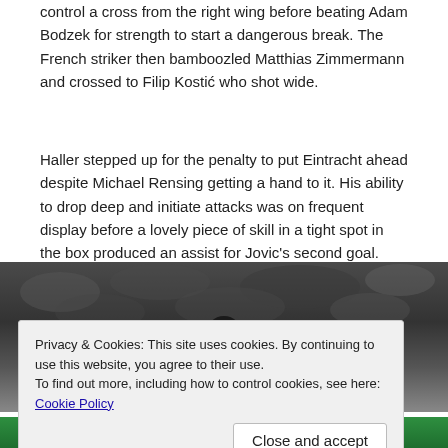control a cross from the right wing before beating Adam Bodzek for strength to start a dangerous break. The French striker then bamboozled Matthias Zimmermann and crossed to Filip Kostić who shot wide.
Haller stepped up for the penalty to put Eintracht ahead despite Michael Rensing getting a hand to it. His ability to drop deep and initiate attacks was on frequent display before a lovely piece of skill in a tight spot in the box produced an assist for Jovic's second goal.
[Figure (photo): A footballer celebrating or in action on the pitch, with crowd in background. Cookie consent overlay visible on top of the image.]
Privacy & Cookies: This site uses cookies. By continuing to use this website, you agree to their use.
To find out more, including how to control cookies, see here: Cookie Policy
Close and accept